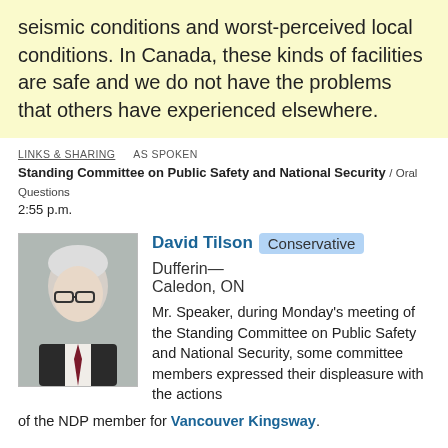seismic conditions and worst-perceived local conditions. In Canada, these kinds of facilities are safe and we do not have the problems that others have experienced elsewhere.
LINKS & SHARING   AS SPOKEN
Standing Committee on Public Safety and National Security / Oral Questions
2:55 p.m.
[Figure (photo): Headshot of David Tilson, an older white-haired man wearing glasses and a dark suit with tie.]
David Tilson  Conservative  Dufferin—Caledon, ON
Mr. Speaker, during Monday's meeting of the Standing Committee on Public Safety and National Security, some committee members expressed their displeasure with the actions of the NDP member for Vancouver Kingsway.
Could the chair of the Standing Committee on Public Safety and National Security please inform the House of these antics and update the members on future committee business?